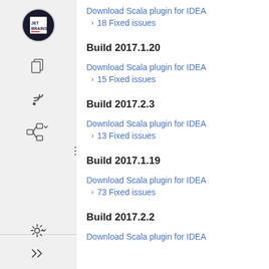Download Scala plugin for IDEA
› 18 Fixed issues
Build 2017.1.20
Download Scala plugin for IDEA
› 15 Fixed issues
Build 2017.2.3
Download Scala plugin for IDEA
› 13 Fixed issues
Build 2017.1.19
Download Scala plugin for IDEA
› 73 Fixed issues
Build 2017.2.2
Download Scala plugin for IDEA